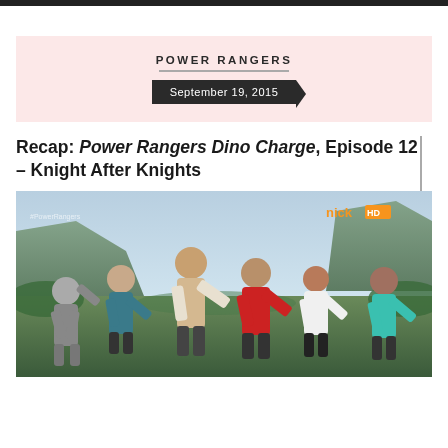POWER RANGERS
September 19, 2015
Recap: Power Rangers Dino Charge, Episode 12 – Knight After Knights
[Figure (photo): Six Power Rangers cast members standing outdoors in a rocky/jungle environment, each with one arm raised pointing forward. Nickelodeon HD watermark visible in upper right. #PowerRangers watermark in upper left.]